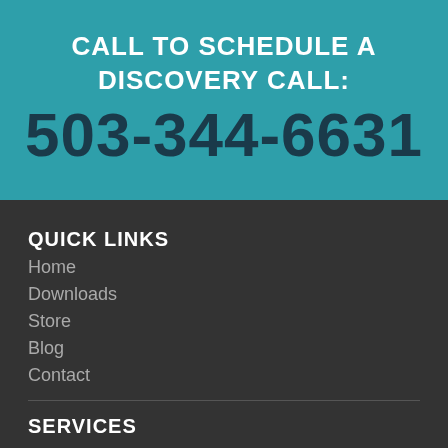CALL TO SCHEDULE A DISCOVERY CALL:
503-344-6631
QUICK LINKS
Home
Downloads
Store
Blog
Contact
SERVICES